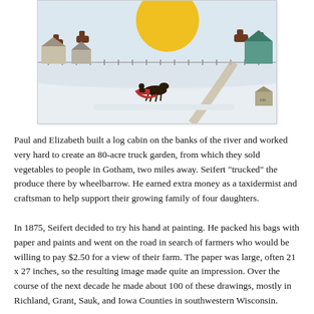[Figure (illustration): A folk art painting showing a winter farm scene with snow-covered ground, farm buildings, cattle, a large yellow sun, horse-drawn sleigh, and a diagonal road or path through the landscape.]
Paul and Elizabeth built a log cabin on the banks of the river and worked very hard to create an 80-acre truck garden, from which they sold vegetables to people in Gotham, two miles away. Seifert "trucked" the produce there by wheelbarrow. He earned extra money as a taxidermist and craftsman to help support their growing family of four daughters.
In 1875, Seifert decided to try his hand at painting. He packed his bags with paper and paints and went on the road in search of farmers who would be willing to pay $2.50 for a view of their farm. The paper was large, often 21 x 27 inches, so the resulting image made quite an impression. Over the course of the next decade he made about 100 of these drawings, mostly in Richland, Grant, Sauk, and Iowa Counties in southwestern Wisconsin.